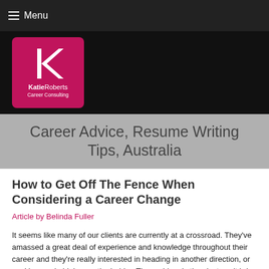≡ Menu
[Figure (logo): KatieRoberts Career Consulting logo — pink/magenta square with white K lettermark and text 'KatieRoberts Career Consulting']
Career Advice, Resume Writing Tips, Australia
How to Get Off The Fence When Considering a Career Change
Article by Belinda Fuller
It seems like many of our clients are currently at a crossroad. They've amassed a great deal of experience and knowledge throughout their career and they're really interested in heading in another direction, or seeking a role higher up the ladder. The problem is they just can't bring